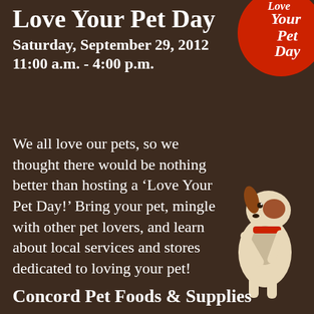Love Your Pet Day
Saturday, September 29, 2012
11:00 a.m. - 4:00 p.m.
[Figure (illustration): Red circular badge/logo with white text 'Love Your Pet Day' partially visible in top-right corner]
We all love our pets, so we thought there would be nothing better than hosting a ‘Love Your Pet Day!’ Bring your pet, mingle with other pet lovers, and learn about local services and stores dedicated to loving your pet!
[Figure (photo): A small white and brown dog with a red collar standing on hind legs, reaching upward]
Concord Pet Foods & Supplies